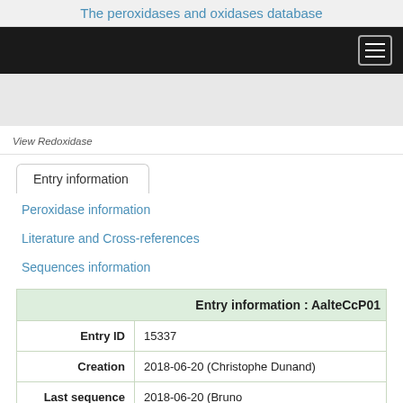The peroxidases and oxidases database
[Figure (screenshot): Black navigation bar with hamburger menu icon on the right]
View Redoxidase
Entry information
Peroxidase information
Literature and Cross-references
Sequences information
| Entry information : AalteCcP01 |  |
| --- | --- |
| Entry ID | 15337 |
| Creation | 2018-06-20 (Christophe Dunand) |
| Last sequence | 2018-06-20 (Bruno |